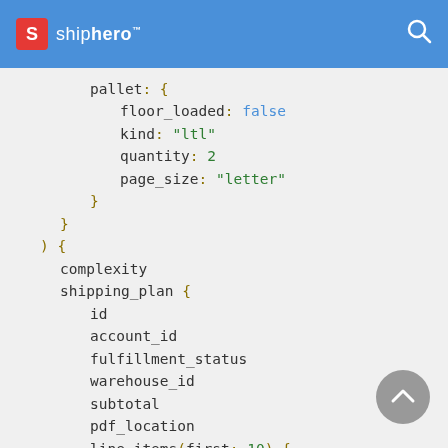shiphero (logo) [search icon]
pallet: {
    floor_loaded: false
    kind: "ltl"
    quantity: 2
    page_size: "letter"
  }
}
) {
  complexity
  shipping_plan {
    id
    account_id
    fulfillment_status
    warehouse_id
    subtotal
    pdf_location
    line_items(first: 10) {